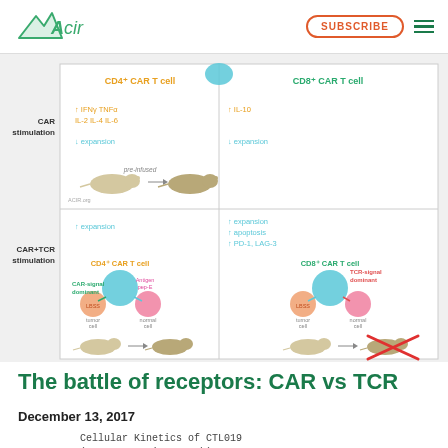ACIR | SUBSCRIBE
[Figure (illustration): Scientific diagram showing differences between CD4+ CAR T cells and CD8+ CAR T cells under CAR stimulation and CAR+TCR stimulation conditions, including cytokine production, expansion, apoptosis, PD-1/LAG-3 expression, and tumor vs normal cell targeting with mouse outcome illustrations. CAR-signal dominant vs TCR-signal dominant scenarios shown.]
The battle of receptors: CAR vs TCR
December 13, 2017
Cellular Kinetics of CTL019 (representative graph)